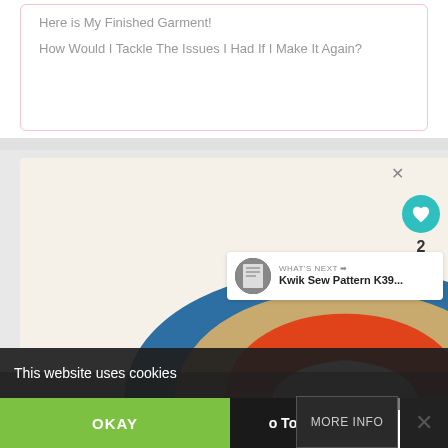Here is My Finished Garment!
How Would I Tackle The Issues I Had If I Make It Again?
[Figure (illustration): Rainbow arch illustration with concentric arches in blue, tan/gold, and orange-red on a cream background]
WHAT'S NEXT → Kwik Sew Pattern K39...
This website uses cookies
OKAY
Today
MORE INFO